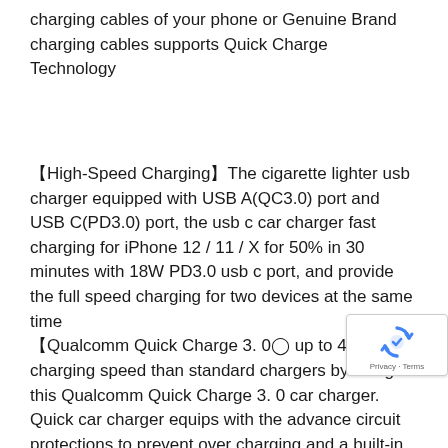charging cables of your phone or Genuine Brand charging cables supports Quick Charge Technology
【High-Speed Charging】The cigarette lighter usb charger equipped with USB A(QC3.0) port and USB C(PD3.0) port, the usb c car charger fast charging for iPhone 12 / 11 / X for 50% in 30 minutes with 18W PD3.0 usb c port, and provide the full speed charging for two devices at the same time
【Qualcomm Quick Charge 3. 0】 up to 4X faster charging speed than standard chargers by using this Qualcomm Quick Charge 3. 0 car charger. Quick car charger equips with the advance circuit protections to prevent over charging and a built-in LED light indicator (up to) to signify charge is ready to use.
【Safety Technology】Certified with CE, FCC and RoHS